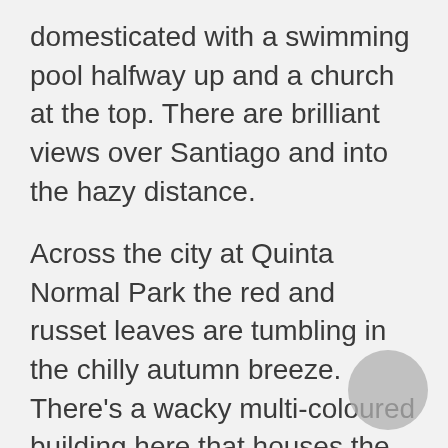domesticated with a swimming pool halfway up and a church at the top. There are brilliant views over Santiago and into the hazy distance.
Across the city at Quinta Normal Park the red and russet leaves are tumbling in the chilly autumn breeze. There's a wacky multi-coloured building here that houses the Artequin Museum. The building itself was designed for the Universal Exhibition in Paris in 1889 and is now a National Monument. Inside are reproductions of famous artworks, with Andy Warhol's Marilyn Monroe and Leonardo da Vinci's Mona Lisa within air-kissing distance of each other. It's a happy place designed to inspire a love of art and creativity in kids.